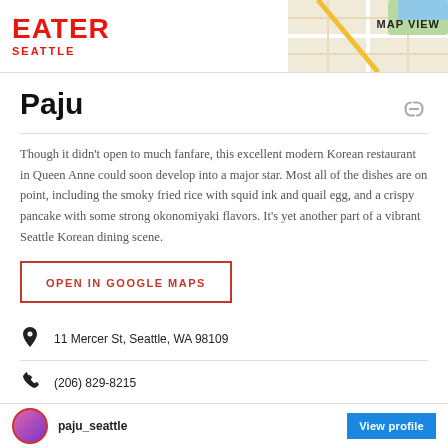EATER SEATTLE | MAP VIEW
Paju
Though it didn't open to much fanfare, this excellent modern Korean restaurant in Queen Anne could soon develop into a major star. Most all of the dishes are on point, including the smoky fried rice with squid ink and quail egg, and a crispy pancake with some strong okonomiyaki flavors. It's yet another part of a vibrant Seattle Korean dining scene.
OPEN IN GOOGLE MAPS
11 Mercer St, Seattle, WA 98109
(206) 829-8215
Visit Website
paju_seattle  View profile